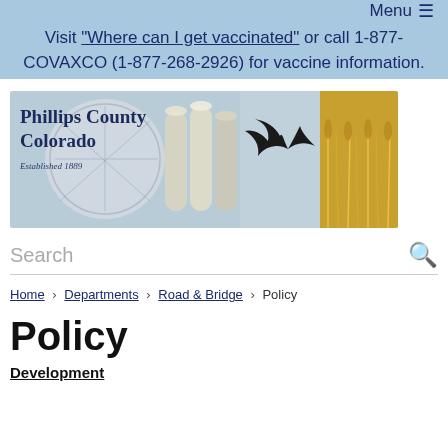Menu ≡
Visit "Where can I get vaccinated" or call 1-877-COVAXCO (1-877-268-2926) for vaccine information.
[Figure (logo): Phillips County Colorado header banner with county seal, grain silos, flying bird, and wheat field. Text reads: Phillips County Colorado, Established 1889]
Search
Home › Departments › Road & Bridge › Policy
Policy
Development